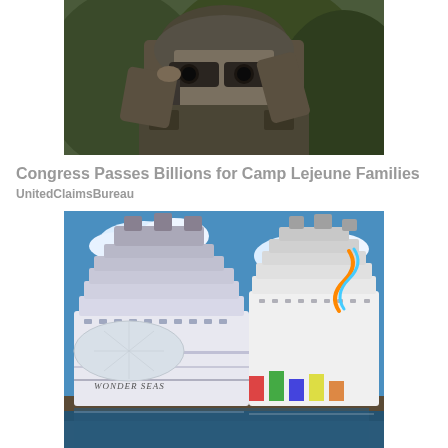[Figure (photo): Military soldier wearing helmet and tactical gear looking through binoculars or scope, close-up shot with green foliage background]
Congress Passes Billions for Camp Lejeune Families
UnitedClaimsBureau
[Figure (photo): Large cruise ships docked at port, including the Wonder of the Seas, under a bright blue sky with clouds]
Empty Alaska Cruise Cabins Cost Almost